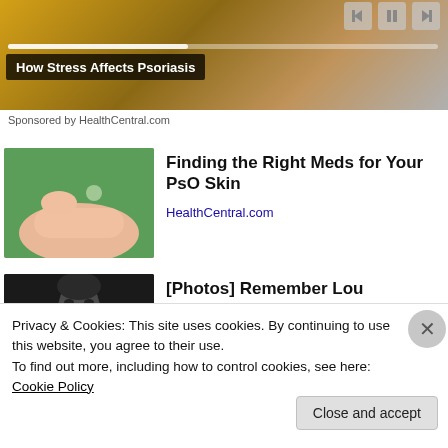[Figure (screenshot): Video player banner showing a health-related video. Progress bar and playback controls visible. Title overlay reads 'How Stress Affects Psoriasis'.]
How Stress Affects Psoriasis
Sponsored by HealthCentral.com
[Figure (photo): Thumbnail image of a hand with drops of liquid medicine being applied, on a green background.]
Finding the Right Meds for Your PsO Skin
HealthCentral.com
[Figure (photo): Dark thumbnail image showing a man's face from forehead to eyes against a dark background.]
[Photos] Remember Lou
Privacy & Cookies: This site uses cookies. By continuing to use this website, you agree to their use.
To find out more, including how to control cookies, see here: Cookie Policy